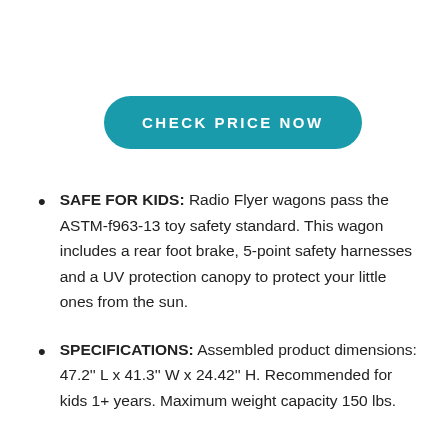CHECK PRICE NOW
SAFE FOR KIDS: Radio Flyer wagons pass the ASTM-f963-13 toy safety standard. This wagon includes a rear foot brake, 5-point safety harnesses and a UV protection canopy to protect your little ones from the sun.
SPECIFICATIONS: Assembled product dimensions: 47.2" L x 41.3" W x 24.42" H. Recommended for kids 1+ years. Maximum weight capacity 150 lbs.